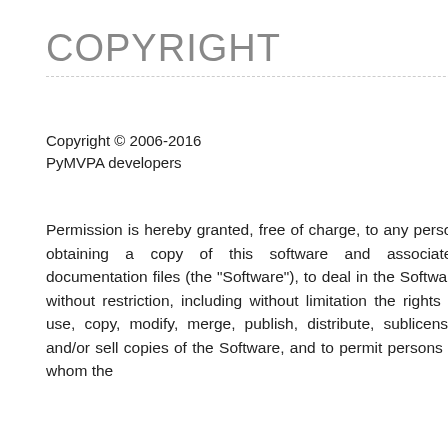COPYRIGHT
Copyright © 2006-2016 PyMVPA developers
Permission is hereby granted, free of charge, to any person obtaining a copy of this software and associated documentation files (the "Software"), to deal in the Software without restriction, including without limitation the rights to use, copy, modify, merge, publish, distribute, sublicense, and/or sell copies of the Software, and to permit persons to whom the